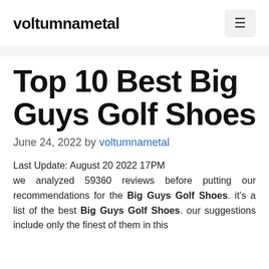voltumnametal
Top 10 Best Big Guys Golf Shoes
June 24, 2022 by voltumnametal
Last Update: August 20 2022 17PM we analyzed 59360 reviews before putting our recommendations for the Big Guys Golf Shoes. it's a list of the best Big Guys Golf Shoes. our suggestions include only the finest of them in this